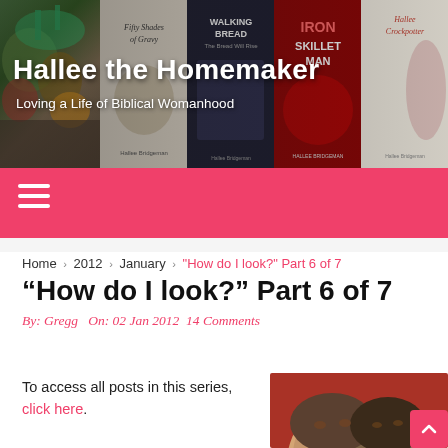[Figure (photo): Website header banner for Hallee the Homemaker blog, showing book covers and vegetables on left side. Books include Fifty Shades of Gravy, Walking Bread, Iron Skillet Man, and Hallee Crockpotter by Hallee Bridgeman.]
Hallee the Homemaker
Loving a Life of Biblical Womanhood
Navigation bar with hamburger menu icon
Home › 2012 › January › "How do I look?" Part 6 of 7
“How do I look?” Part 6 of 7
By: Gregg  On: 02 Jan 2012  14 Comments
To access all posts in this series, click here.
[Figure (photo): Photo of two people close together against a red background.]
To recap, several